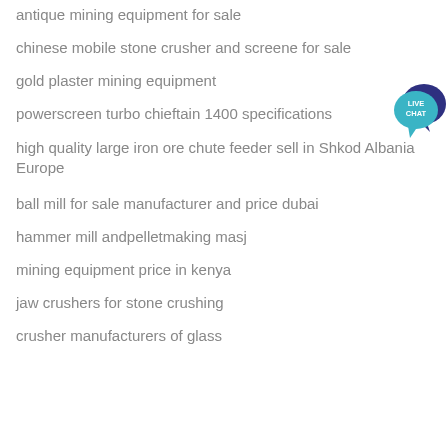antique mining equipment for sale
chinese mobile stone crusher and screene for sale
gold plaster mining equipment
powerscreen turbo chieftain 1400 specifications
high quality large iron ore chute feeder sell in Shkod Albania Europe
ball mill for sale manufacturer and price dubai
hammer mill andpelletmaking masj
mining equipment price in kenya
jaw crushers for stone crushing
crusher manufacturers of glass
[Figure (illustration): Live Chat button with teal speech bubble containing 'LIVE CHAT' text and dark blue speech bubble behind it]